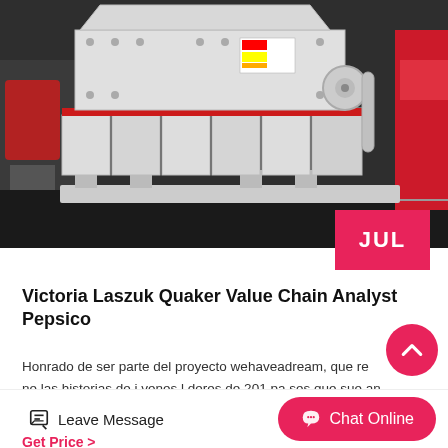[Figure (photo): Large white industrial impact crusher/hammer mill machine sitting on a pallet in a warehouse or factory setting. A red strap is visible around the mid-section. A red machine is partially visible on the right edge.]
JUL
Victoria Laszuk Quaker Value Chain Analyst Pepsico
Honrado de ser parte del proyecto wehaveadream, que re ne las historias de j venes l deres de 201 pa ses que sue an con cambiar el mundo, cuya liked by victoria laszuk today’s complex fixed inco
Get Price  >
Leave Message
Chat Online